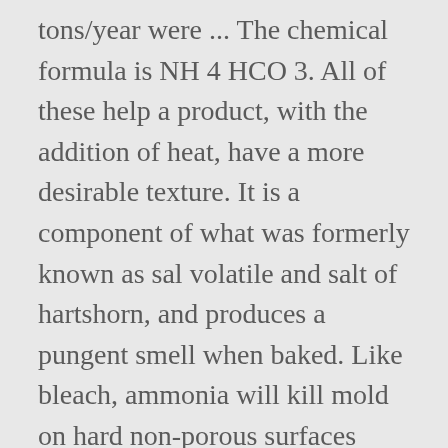tons/year were ... The chemical formula is NH 4 HCO 3. All of these help a product, with the addition of heat, have a more desirable texture. It is a component of what was formerly known as sal volatile and salt of hartshorn, and produces a pungent smell when baked. Like bleach, ammonia will kill mold on hard non-porous surfaces such as countertops, glass or tiles but it is ineffective at killing mold growing in porous material such as wood or drywall. Ammonia is what you need. Baking soda consists purely of sodium bicarbonate, so recipes calling for it must include an acidic ingredient like lemon juice, vinegar, buttermilk, or brown sugar (the molasses in brown sugar is acidic) to activate